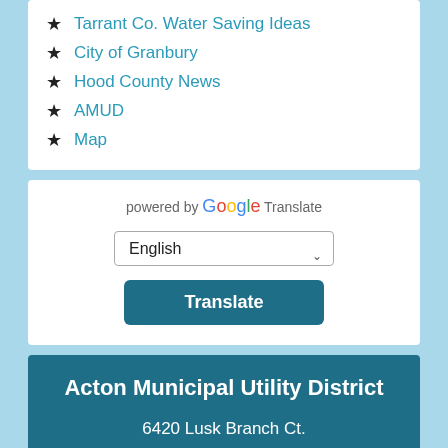Tarrant Co. Water Saving Ideas
City of Granbury
Hood County News
AMUD
Map
powered by Google Translate
English
Translate
Acton Municipal Utility District
6420 Lusk Branch Ct.
Granbury, TX 76049-2035
(817) 326-4720
Fax: (817) 326-5031
View Map